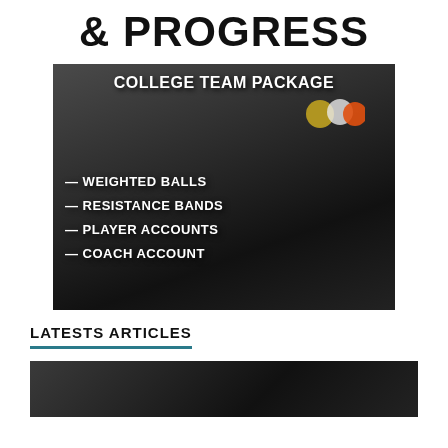& PROGRESS
[Figure (photo): College Team Package advertisement image showing weighted balls, resistance bands, and sports training equipment on dark background with text overlay listing: Weighted Balls, Resistance Bands, Player Accounts, Coach Account]
LATESTS ARTICLES
[Figure (photo): Bottom partial photo showing a dark background with partial face/person visible]